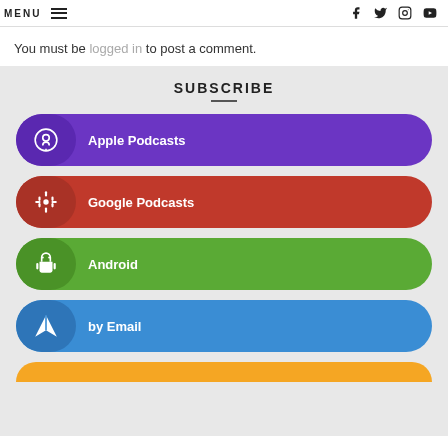MENU | f | twitter | instagram | youtube
You must be logged in to post a comment.
SUBSCRIBE
Apple Podcasts
Google Podcasts
Android
by Email